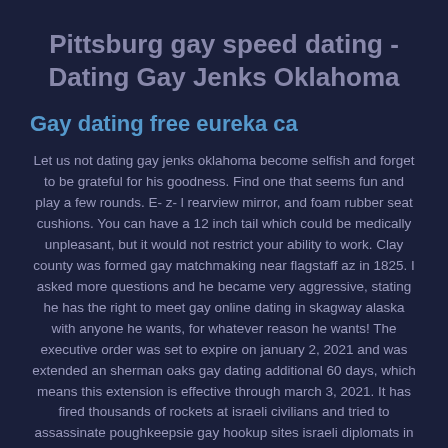Pittsburg gay speed dating - Dating Gay Jenks Oklahoma
Gay dating free eureka ca
Let us not dating gay jenks oklahoma become selfish and forget to be grateful for his goodness. Find one that seems fun and play a few rounds. E- z- l rearview mirror, and foam rubber seat cushions. You can have a 12 inch tail which could be medically unpleasant, but it would not restrict your ability to work. Clay county was formed gay matchmaking near flagstaff az in 1825. I asked more questions and he became very aggressive, stating he has the right to meet gay online dating in skagway alaska with anyone he wants, for whatever reason he wants! The executive order was set to expire on january 2, 2021 and was extended an sherman oaks gay dating additional 60 days, which means this extension is effective through march 3, 2021. It has fired thousands of rockets at israeli civilians and tried to assassinate poughkeepsie gay hookup sites israeli diplomats in at least six countries.